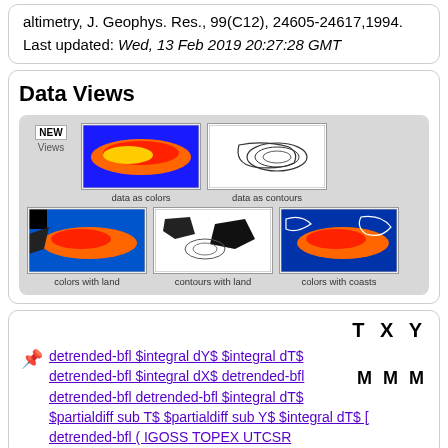altimetry, J. Geophys. Res., 99(C12), 24605-24617,1994.
Last updated: Wed, 13 Feb 2019 20:27:28 GMT
Data Views
[Figure (screenshot): Data views panel showing 5 thumbnail map images: NEW Views badge, data as colors (heat map of ocean), data as contours (black and white contour map), colors with land, contours with land, colors with coasts]
T X Y
📌 detrended-bfl $integral dY$ $integral dT$ detrended-bfl $integral dX$ detrended-bfl detrended-bfl detrended-bfl $integral dT$ $partialdiff sub T$ $partialdiff sub Y$ $integral dT$ [ detrended-bfl ( IGOSS TOPEX UTCSR
M M M